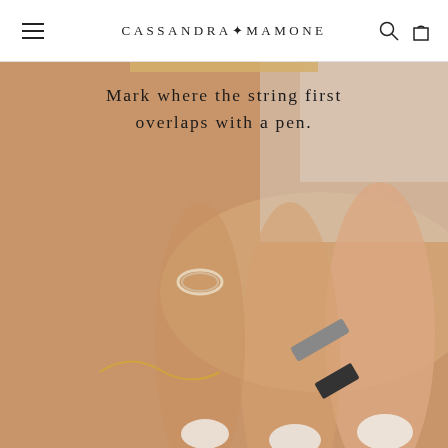CASSANDRA+MAMONE
[Figure (photo): Close-up photo of a hand with white manicured nails, with a string/twisted cord wrapped around a finger and a pen marking where the string overlaps, used to measure ring size. A gold chain bracelet is visible on the wrist. The text overlay reads: Mark where the string first overlaps with a pen.]
Mark where the string first overlaps with a pen.